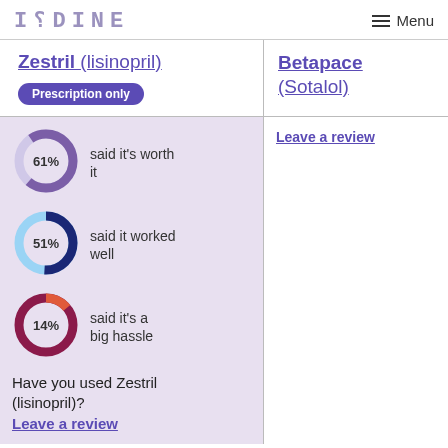IODINE  Menu
Zestril (lisinopril)
Prescription only
Betapace (Sotalol)
[Figure (donut-chart): 61% said it's worth it]
[Figure (donut-chart): 51% said it worked well]
[Figure (donut-chart): 14% said it's a big hassle]
Leave a review
Have you used Zestril (lisinopril)?
Leave a review